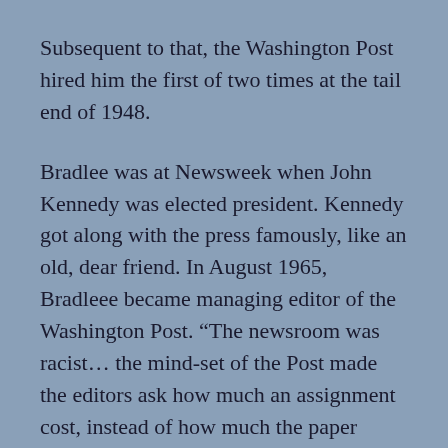Subsequent to that, the Washington Post hired him the first of two times at the tail end of 1948.
Bradlee was at Newsweek when John Kennedy was elected president. Kennedy got along with the press famously, like an old, dear friend. In August 1965, Bradleee became managing editor of the Washington Post. “The newsroom was racist… the mind-set of the Post made the editors ask how much an assignment cost, instead of how much the paper needed the story.” Case in point: The Post was (inexcusably) nearly a week late in reporting on the Watts riots.